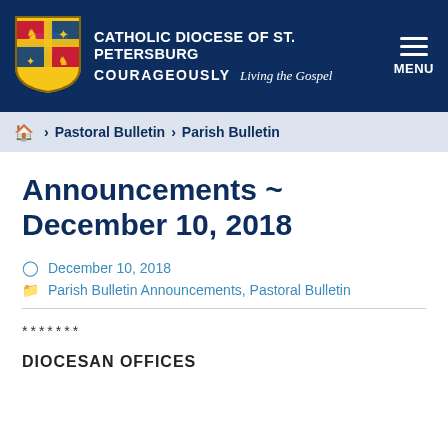CATHOLIC DIOCESE OF ST. PETERSBURG COURAGEOUSLY Living the Gospel MENU
🏠 > Pastoral Bulletin > Parish Bulletin
Announcements ~ December 10, 2018
December 10, 2018
Parish Bulletin Announcements, Pastoral Bulletin
*******
DIOCESAN OFFICES